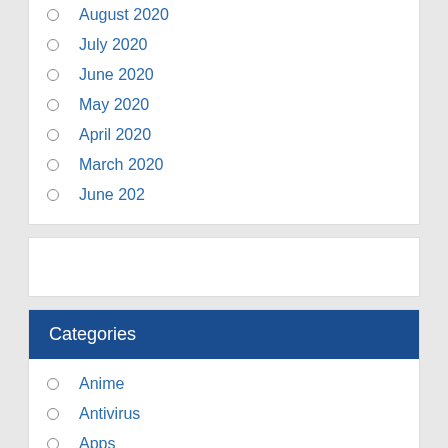August 2020
July 2020
June 2020
May 2020
April 2020
March 2020
June 202
Categories
Anime
Antivirus
Apps
Browser
Comics
Download
Featured